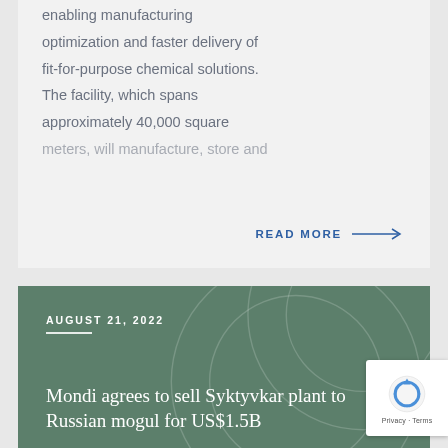enabling manufacturing optimization and faster delivery of fit-for-purpose chemical solutions. The facility, which spans approximately 40,000 square meters, will manufacture, store and
READ MORE →
AUGUST 21, 2022
Mondi agrees to sell Syktyvkar plant to Russian mogul for US$1.5B